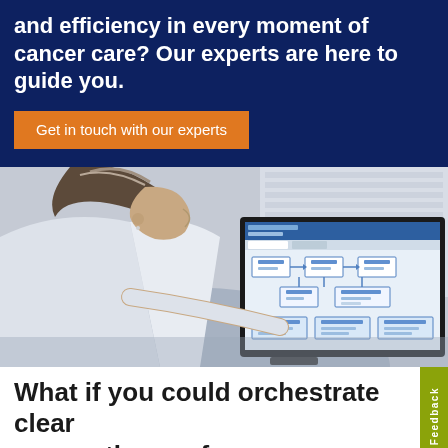and efficiency in every moment of cancer care? Our experts are here to guide you.
Get in touch with our experts
[Figure (photo): A female healthcare professional in a white coat viewed from the side, looking at a large monitor displaying clinical pathway software with flowcharts and diagrams.]
What if you could orchestrate clear care pathways for every patient?